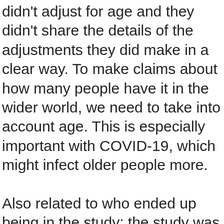didn't adjust for age and they didn't share the details of the adjustments they did make in a clear way. To make claims about how many people have it in the wider world, we need to take into account age. This is especially important with COVID-19, which might infect older people more.
Also related to who ended up being in the study: the study was advertised as a way to get free tests (and, relatedly, one ad falsely claimed that taking it could tell you whether you were safe to go back to work). That would bias who participates. My intuition is that it would pull for people who had symptoms or exposure, but the Stanford folks point out that it could just as likely have pulled for